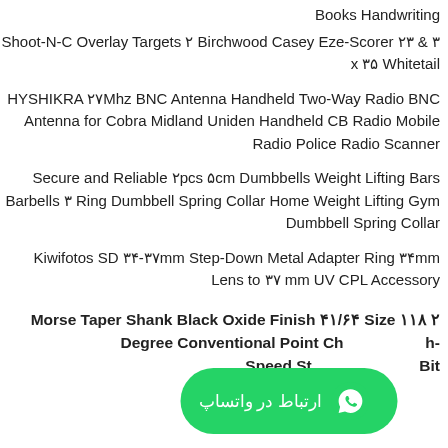Books Handwriting
Shoot-N-C Overlay Targets ۲ Birchwood Casey Eze-Scorer ۲۳ & ۳ x ۳۵ Whitetail
HYSHIKRA ۲۷Mhz BNC Antenna Handheld Two-Way Radio BNC Antenna for Cobra Midland Uniden Handheld CB Radio Mobile Radio Police Radio Scanner
Secure and Reliable ۲pcs ۵cm Dumbbells Weight Lifting Bars Barbells ۳ Ring Dumbbell Spring Collar Home Weight Lifting Gym Dumbbell Spring Collar
Kiwifotos SD ۳۴-۳۷mm Step-Down Metal Adapter Ring ۳۴mm Lens to ۳۷ mm UV CPL Accessory
Morse Taper Shank Black Oxide Finish ۴۱/۶۴ Size ۱۱۸ ۲ Degree Conventional Point Ch...h- Speed St...Bit